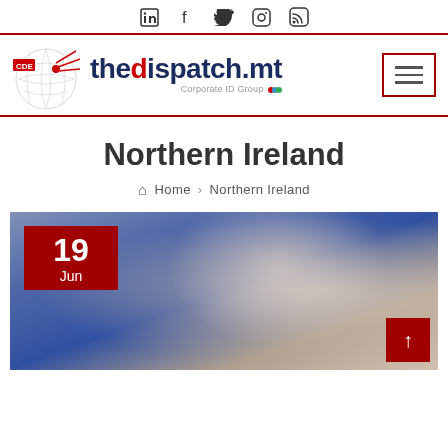Social media icons: LinkedIn, Facebook, Twitter, Instagram, RSS
[Figure (logo): thedispatch.mt logo with globe graphic and CDE badge, Corporate ID Group tagline, with hamburger menu button]
Northern Ireland
Home > Northern Ireland
[Figure (photo): Article card with date badge showing 19 Jun, blurred background photo of a man (politician), and red up-arrow scroll button]